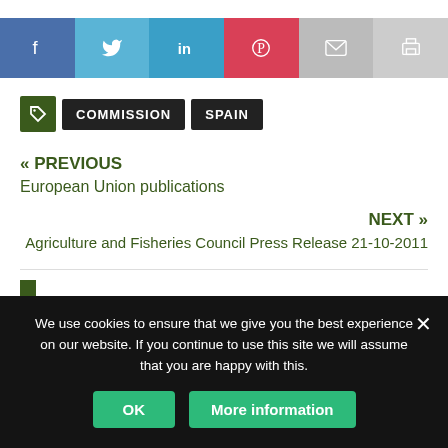[Figure (infographic): Social sharing bar with icons for Facebook, Twitter, LinkedIn, Pinterest, Email, and Print]
COMMISSION
SPAIN
« PREVIOUS
European Union publications
NEXT »
Agriculture and Fisheries Council Press Release 21-10-2011
We use cookies to ensure that we give you the best experience on our website. If you continue to use this site we will assume that you are happy with this.